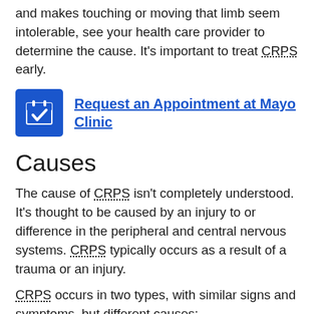and makes touching or moving that limb seem intolerable, see your health care provider to determine the cause. It's important to treat CRPS early.
[Figure (other): Blue calendar icon with white checkmark, linking to Request an Appointment at Mayo Clinic]
Request an Appointment at Mayo Clinic
Causes
The cause of CRPS isn't completely understood. It's thought to be caused by an injury to or difference in the peripheral and central nervous systems. CRPS typically occurs as a result of a trauma or an injury.
CRPS occurs in two types, with similar signs and symptoms, but different causes:
Type 1. Also known as reflex sympathetic dystrophy (RSD), this type occurs after an illness or injury that didn't directly damage the nerves in the affected limb.
About 90% of people with CRPS have type 1.